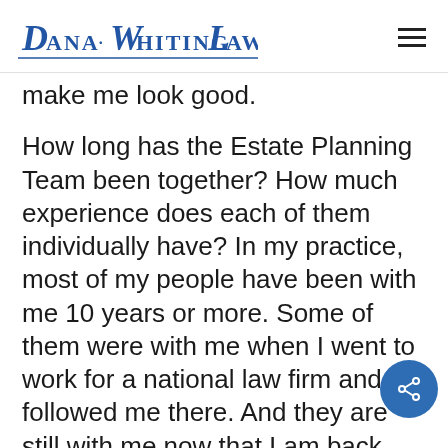Dana Whiting Law
make me look good.
How long has the Estate Planning Team been together? How much experience does each of them individually have? In my practice, most of my people have been with me 10 years or more. Some of them were with me when I went to work for a national law firm and followed me there. And they are still with me now that I am back running my own ship. The biggest challenge I face in the practice of Estate Planning is keeping the quality people that I have together. Now that I am in my early